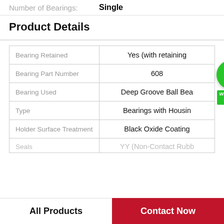Number of Bearings: Single
Product Details
|  |  |
| --- | --- |
| Bearing Retained | Yes (with retaining |
| Bearing Part Number | 608 |
| Bearing Used | Deep Groove Ball Bea... |
| Type | Bearings with Housin |
| Holder Surface Treatment | Black Oxide Coating |
| Seals | YY (Non-Contact Rubb... |
[Figure (logo): WhatsApp Online contact bubble with green circle phone icon and WhatsApp Online label]
All Products | Contact Now